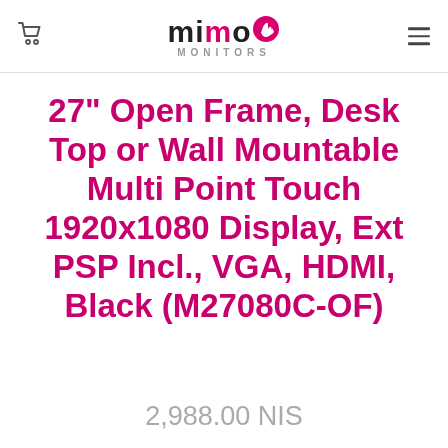Mimo Monitors
27" Open Frame, Desk Top or Wall Mountable Multi Point Touch 1920x1080 Display, Ext PSP Incl., VGA, HDMI, Black (M27080C-OF)
2,988.00 NIS